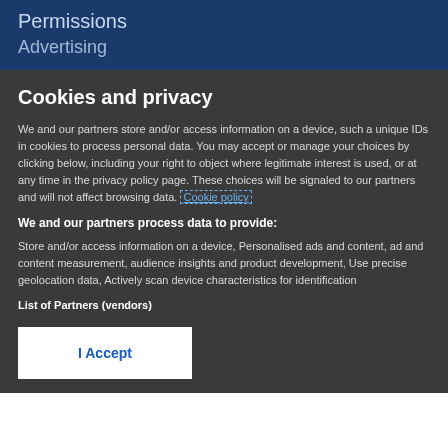Permissions
Advertising
Cookies and privacy
We and our partners store and/or access information on a device, such a unique IDs in cookies to process personal data. You may accept or manage your choices by clicking below, including your right to object where legitimate interest is used, or at any time in the privacy policy page. These choices will be signaled to our partners and will not affect browsing data. Cookie policy
We and our partners process data to provide:
Store and/or access information on a device, Personalised ads and content, ad and content measurement, audience insights and product development, Use precise geolocation data, Actively scan device characteristics for identification
List of Partners (vendors)